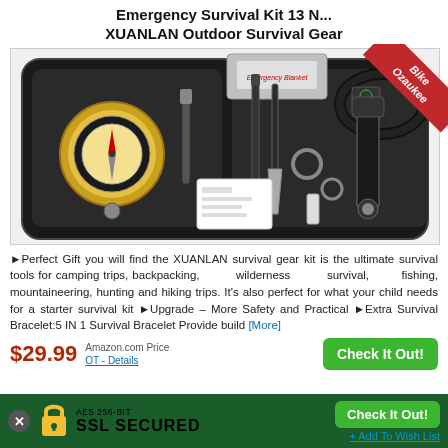Emergency Survival Kit 13 N... XUANLAN Outdoor Survival Gear
[Figure (photo): Emergency survival kit product photo showing open black case with compass, fire starter, tactical pen, knife, flashlight, multi-tool card, emergency blanket, and paracord survival bracelet. A red diagonal badge reads 'Bike Ozaukee' in the top right corner.]
►Perfect Gift you will find the XUANLAN survival gear kit is the ultimate survival tools for camping trips, backpacking, wilderness survival, fishing, mountaineering, hunting and hiking trips. It's also perfect for what your child needs for a starter survival kit ►Upgrade – More Safety and Practical ►Extra Survival Bracelet:5 IN 1 Survival Bracelet Provide build [More]
$29.99 Amazon.com Price (as of ... OT - Details)
Check It Out!
AES 256-BIT SSL SECURED    + Add To Wish List